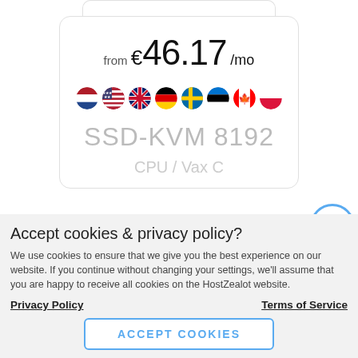[Figure (screenshot): Hosting plan card showing price 'from € 46.17 /mo', country flag icons, and plan name 'SSD-KVM 8192']
Accept cookies & privacy policy?
We use cookies to ensure that we give you the best experience on our website. If you continue without changing your settings, we'll assume that you are happy to receive all cookies on the HostZealot website.
Privacy Policy
Terms of Service
ACCEPT COOKIES